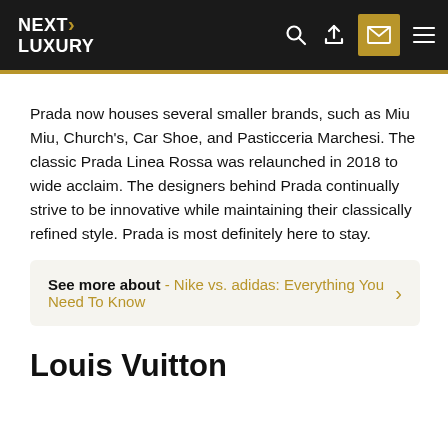NEXT LUXURY
Prada now houses several smaller brands, such as Miu Miu, Church's, Car Shoe, and Pasticceria Marchesi. The classic Prada Linea Rossa was relaunched in 2018 to wide acclaim. The designers behind Prada continually strive to be innovative while maintaining their classically refined style. Prada is most definitely here to stay.
See more about - Nike vs. adidas: Everything You Need To Know
Louis Vuitton